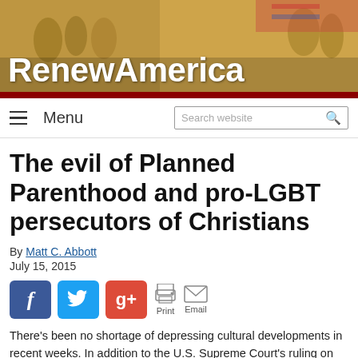[Figure (illustration): RenewAmerica website banner with historical painting of founding fathers and large white bold text 'RenewAmerica']
Menu  |  Search website
The evil of Planned Parenthood and pro-LGBT persecutors of Christians
By Matt C. Abbott
July 15, 2015
[Figure (infographic): Social sharing buttons: Facebook (blue), Twitter (blue), Google+ (red), Print, Email]
There's been no shortage of depressing cultural developments in recent weeks. In addition to the U.S. Supreme Court's ruling on same-sex "marriage," we have the following story about abortion giant Planned Parenthood (from LifeNews.com):